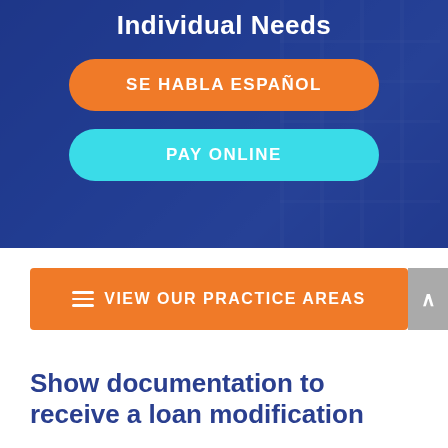Individual Needs
SE HABLA ESPAÑOL
PAY ONLINE
≡ VIEW OUR PRACTICE AREAS
Show documentation to receive a loan modification